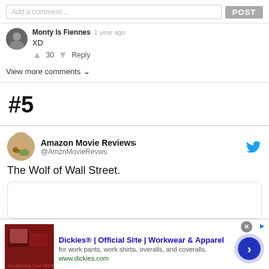[Figure (screenshot): Comment input box with 'Add a comment...' placeholder and POST button]
Monty Is Fiennes  1 year ago
XD
▲ 30 ▼  Reply
View more comments ∨
#5
[Figure (screenshot): Tweet from Amazon Movie Reviews @AmznMovieRevws with text: The Wolf of Wall Street.]
Amazon Movie Reviews
@AmznMovieRevws
The Wolf of Wall Street.
[Figure (screenshot): Advertisement: Dickies® | Official Site | Workwear & Apparel - for work pants, work shirts, overalls, and coveralls. www.dickies.com]